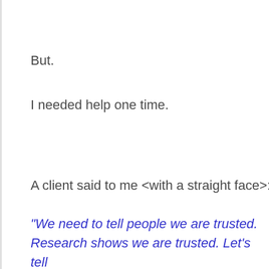But.
I needed help one time.
A client said to me <with a straight face>:
“We need to tell people we are trusted. Research shows we are trusted. Let’s tell